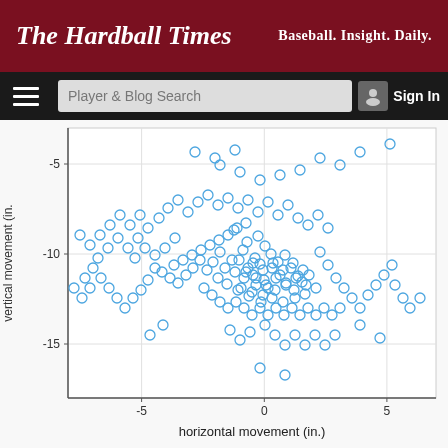The Hardball Times — Baseball. Insight. Daily.
Player & Blog Search
Sign In
[Figure (continuous-plot): Scatter plot of baseball pitch movement data. X-axis: horizontal movement (in.) ranging from about -8 to 7. Y-axis: vertical movement (in.) ranging from about -18 to -3. Hundreds of blue open circle data points clustered predominantly in the negative horizontal, negative vertical quadrant, with the densest cluster around (-1 to 1, -8 to -13).]